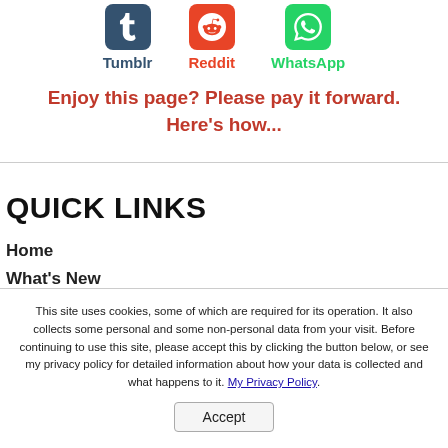[Figure (other): Social sharing icons: Tumblr (dark blue), Reddit (orange-red), WhatsApp (green) with labels]
Enjoy this page? Please pay it forward. Here's how...
QUICK LINKS
Home
What's New
This site uses cookies, some of which are required for its operation. It also collects some personal and some non-personal data from your visit. Before continuing to use this site, please accept this by clicking the button below, or see my privacy policy for detailed information about how your data is collected and what happens to it. My Privacy Policy.